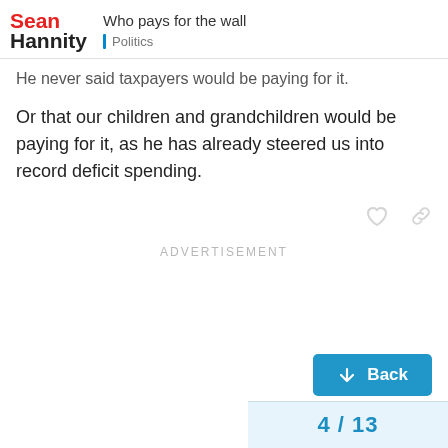Sean Hannity — Who pays for the wall — Politics
He never said taxpayers would be paying for it.
Or that our children and grandchildren would be paying for it, as he has already steered us into record deficit spending.
ADVERTISEMENT
Back
4 / 13